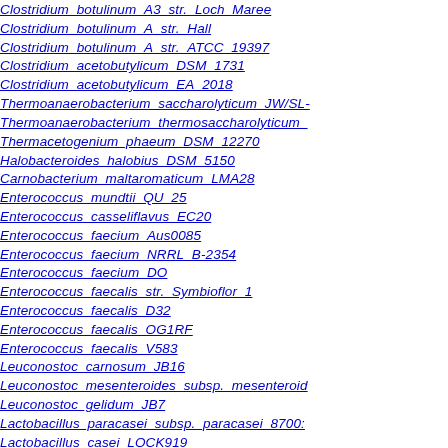Clostridium botulinum A3 str. Loch Maree
Clostridium botulinum A str. Hall
Clostridium botulinum A str. ATCC 19397
Clostridium acetobutylicum DSM 1731
Clostridium acetobutylicum EA 2018
Thermoanaerobacterium saccharolyticum JW/SL-...
Thermoanaerobacterium thermosaccharolyticum...
Thermacetogenium phaeum DSM 12270
Halobacteroides halobius DSM 5150
Carnobacterium maltaromaticum LMA28
Enterococcus mundtii QU 25
Enterococcus casseliflavus EC20
Enterococcus faecium Aus0085
Enterococcus faecium NRRL B-2354
Enterococcus faecium DO
Enterococcus faecalis str. Symbioflor 1
Enterococcus faecalis D32
Enterococcus faecalis OG1RF
Enterococcus faecalis V583
Leuconostoc carnosum JB16
Leuconostoc mesenteroides subsp. mesenteroid...
Leuconostoc gelidum JB7
Lactobacillus paracasei subsp. paracasei 8700:...
Lactobacillus casei LOCK919
Lactobacillus casei W56
Lactobacillus casei BL23
Lactobacillus casei str. Zhang
Lactobacillus rhamnosus GG
Lactobacillus rhamnosus GG
Lactobacillus salivarius UCC118